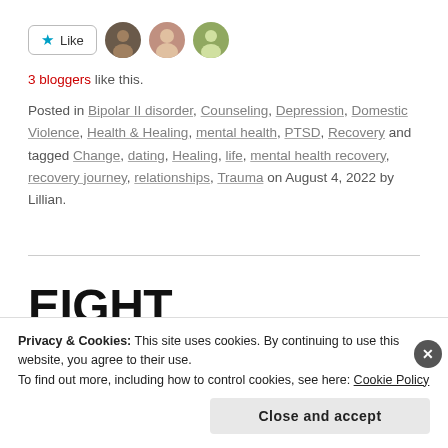[Figure (other): Like button with star icon and three blogger avatar photos]
3 bloggers like this.
Posted in Bipolar II disorder, Counseling, Depression, Domestic Violence, Health & Healing, mental health, PTSD, Recovery and tagged Change, dating, Healing, life, mental health recovery, recovery journey, relationships, Trauma on August 4, 2022 by Lillian.
EIGHT DIMENSIONS OF WELLNESS AND PERSONAL
Privacy & Cookies: This site uses cookies. By continuing to use this website, you agree to their use.
To find out more, including how to control cookies, see here: Cookie Policy
Close and accept